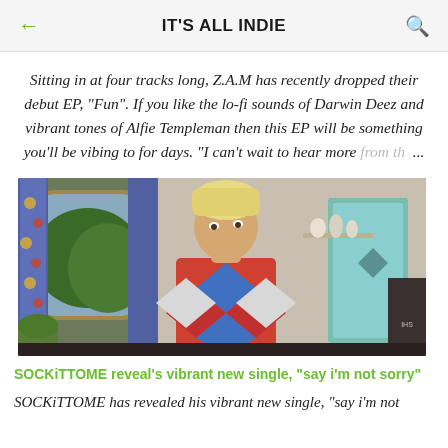IT'S ALL INDIE
Sitting in at four tracks long, Z.A.M has recently dropped their debut EP, "Fun". If you like the lo-fi sounds of Darwin Deez and vibrant tones of Alfie Templeman then this EP will be something you'll be vibing to for days. "I can't wait to hear more from th ...
[Figure (photo): Young man with blonde hair wearing a colorful argyle/diamond pattern sweater in blue, red, and white, standing in a room with a window with blue floral curtains and a teal door in the background.]
SOCKiTTOME reveal's vibrant new single, "say i'm not sorry"
SOCKiTTOME has revealed his vibrant new single, "say i'm not